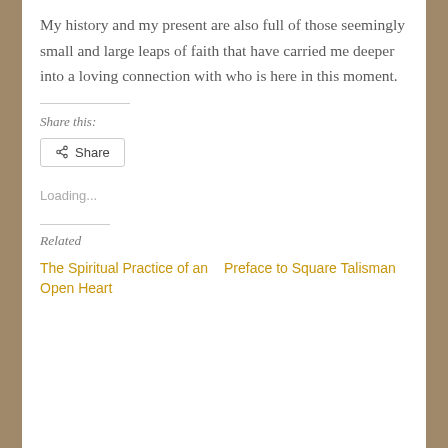My history and my present are also full of those seemingly small and large leaps of faith that have carried me deeper into a loving connection with who is here in this moment.
Share this:
[Figure (other): Share button with share icon]
Loading...
Related
The Spiritual Practice of an Open Heart
Preface to Square Talisman